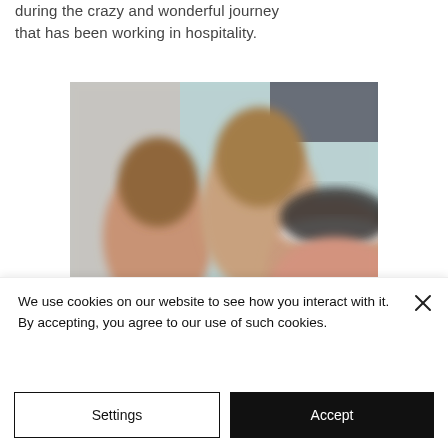during the crazy and wonderful journey that has been working in hospitality.
[Figure (photo): A blurry selfie of three people; one wearing a white headband, another in a dark cap, in a teal/blue background.]
We use cookies on our website to see how you interact with it. By accepting, you agree to our use of such cookies.
Settings
Accept